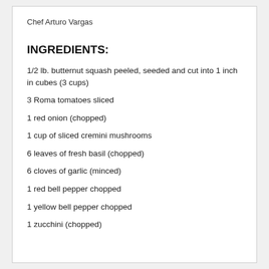Chef Arturo Vargas
INGREDIENTS:
1/2 lb. butternut squash peeled, seeded and cut into 1 inch in cubes (3 cups)
3 Roma tomatoes sliced
1 red onion (chopped)
1 cup of sliced cremini mushrooms
6 leaves of fresh basil (chopped)
6 cloves of garlic (minced)
1 red bell pepper chopped
1 yellow bell pepper chopped
1 zucchini (chopped)